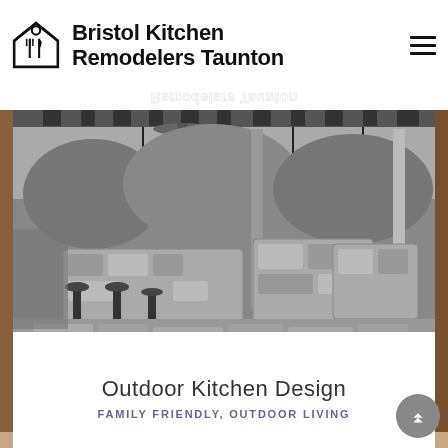Bristol Kitchen Remodelers Taunton
[Figure (photo): Outdoor kitchen with stone counters, bar stools, hanging lanterns, pergola with striped canopy, and lush trees in background. Black and white photograph.]
Outdoor Kitchen Design
FAMILY FRIENDLY, OUTDOOR LIVING